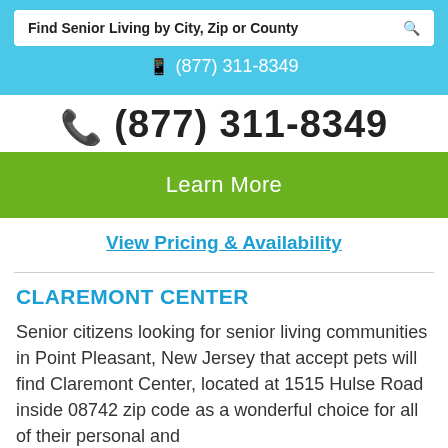Find Senior Living by City, Zip or County
(877) 311-8349
(877) 311-8349
Learn More
View Pricing & Availability
CLAREMONT CENTER
Senior citizens looking for senior living communities in Point Pleasant, New Jersey that accept pets will find Claremont Center, located at 1515 Hulse Road inside 08742 zip code as a wonderful choice for all of their personal and